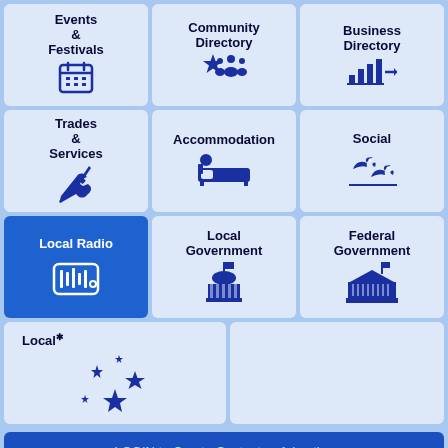[Figure (infographic): 3x4 grid of navigation tiles for a local community website (Mudgee-NSW). Tiles include: Events & Festivals (calendar icon), Community Directory (star and people icons), Business Directory (bar chart and arrow icons), Trades & Services (wrench and screwdriver icons), Accommodation (bed icon), Social (two birds icons), Local Radio (radio icon), Local Government (capitol building icon), Federal Government (parliament building icon), Local (southern cross stars icon), empty tile, LOGIN to Create Content or Advertise button, footer with Mudgee-NSW branding, social media buttons (Facebook, Twitter, LinkedIn, plus), and footer links (Terms of use, Privacy Policy, About us).]